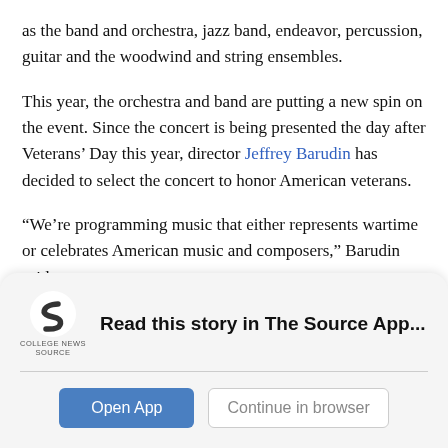as the band and orchestra, jazz band, endeavor, percussion, guitar and the woodwind and string ensembles.
This year, the orchestra and band are putting a new spin on the event. Since the concert is being presented the day after Veterans' Day this year, director Jeffrey Barudin has decided to select the concert to honor American veterans.
“We’re programming music that either represents wartime or celebrates American music and composers,” Barudin said.
[Figure (screenshot): College News Source app promotion banner with logo, 'Read this story in The Source App...' text, and two buttons: 'Open App' and 'Continue in browser']